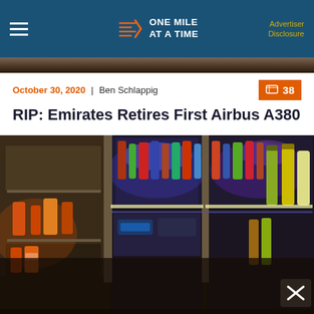ONE MILE AT A TIME | Advertiser Disclosure
[Figure (photo): Partial photo strip at top of article — dark cabin interior]
October 30, 2020 | Ben Schlappig
RIP: Emirates Retires First Airbus A380
[Figure (photo): Photo of Emirates A380 onboard bar/lounge area showing illuminated shelves stocked with bottles of wine, champagne, spirits, and mixers lit by blue LED lighting. A close button (X) is visible at bottom right. The lower portion of the image is darkened by a semi-transparent overlay.]